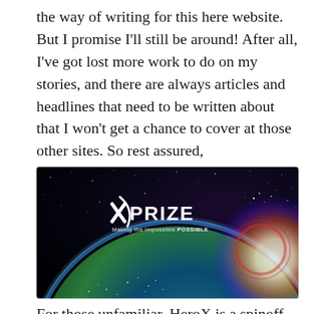the way of writing for this here website. But I promise I'll still be around! After all, I've got lost more work to do on my stories, and there are always articles and headlines that need to be written about that I won't get a chance to cover at those other sites. So rest assured, storiesbywilliams will be in operation for a long time to come.
[Figure (photo): XPRIZE logo with tagline 'Making the Impossible POSSIBLE' on a dark starry space background with a dramatic view of Earth from orbit, sunlight glowing on the horizon.]
For those unfamiliar, HeroX is a spinoff of the